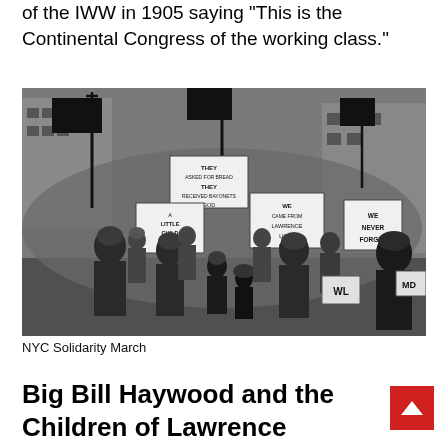of the IWW in 1905 saying "This is the Continental Congress of the working class."
[Figure (photo): Black and white historical photograph of an NYC Solidarity March. A large crowd marches through a city street carrying black flags and signs. Signs read: 'THEY ASKED FOR BREAD THEY RECEIVED BAYONETS GOD', 'A LITTLE CHILD SHALL LEAD THEM', 'WE CAME FROM LAWRENCE LIKE A HOME', 'WE NEVER FORGET', and partial signs visible on the right. Adults and children are visible in the march, all dressed in early 20th century clothing.]
NYC Solidarity March
Big Bill Haywood and the Children of Lawrence